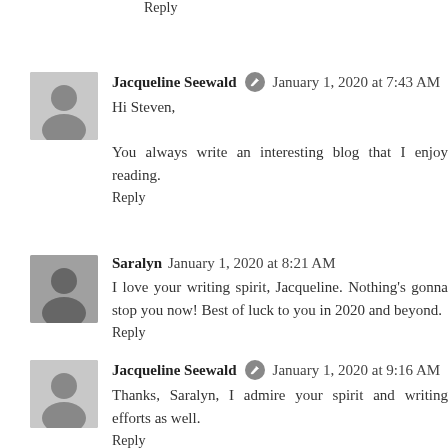Reply
Jacqueline Seewald [edit icon] January 1, 2020 at 7:43 AM
Hi Steven,

You always write an interesting blog that I enjoy reading.
Reply
Saralyn January 1, 2020 at 8:21 AM
I love your writing spirit, Jacqueline. Nothing's gonna stop you now! Best of luck to you in 2020 and beyond.
Reply
Jacqueline Seewald [edit icon] January 1, 2020 at 9:16 AM
Thanks, Saralyn, I admire your spirit and writing efforts as well.
Reply